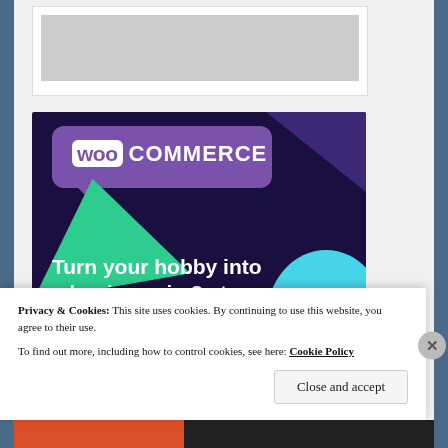[Figure (screenshot): Gray placeholder image area at top of browser content region]
[Figure (illustration): WooCommerce advertisement banner with purple/dark blue background, WooCommerce logo in purple speech bubble, green triangle shape, cyan circle on right, headline text 'Turn your hobby into a business in 8 steps', and 'Start a new store' button]
Privacy & Cookies: This site uses cookies. By continuing to use this website, you agree to their use.
To find out more, including how to control cookies, see here: Cookie Policy
Close and accept